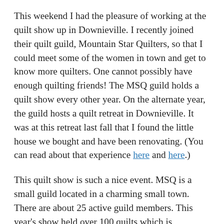This weekend I had the pleasure of working at the quilt show up in Downieville. I recently joined their quilt guild, Mountain Star Quilters, so that I could meet some of the women in town and get to know more quilters. One cannot possibly have enough quilting friends! The MSQ guild holds a quilt show every other year. On the alternate year, the guild hosts a quilt retreat in Downieville. It was at this retreat last fall that I found the little house we bought and have been renovating. (You can read about that experience here and here.)
This quilt show is such a nice event. MSQ is a small guild located in a charming small town. There are about 25 active guild members. This year's show held over 100 quilts which is impressive considering the size of the group. In addition to local quilter's showing their pieces, we also had the treat of hanging a traveling collection of challenge quilts from a 2014 Hoffman challenge. This is the second show we have had where we shared a traveling collection. I think it is really wonderful to have access to collections like this in such a